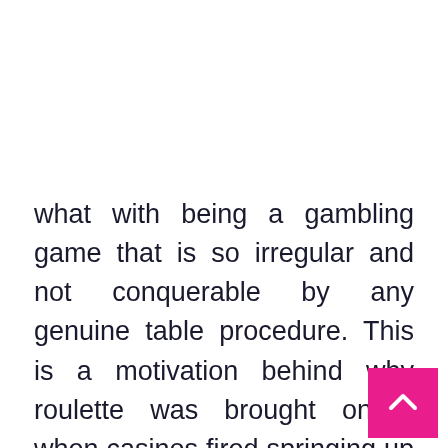what with being a gambling game that is so irregular and not conquerable by any genuine table procedure. This is a motivation behind why roulette was brought online when casinos fired springing up in the Web. This permitted many individuals with no admittance to land-based casinos to play roulette close by other famous casino games like Poker, Blackjack, Slots, and Craps. From that point forward, roulette turned into a tremendous online gambling prevailing fashion, to the point that the actual game turned into a promoting device for the numerous online casinos in presence. Indeed, even those used to gambling in live casinos